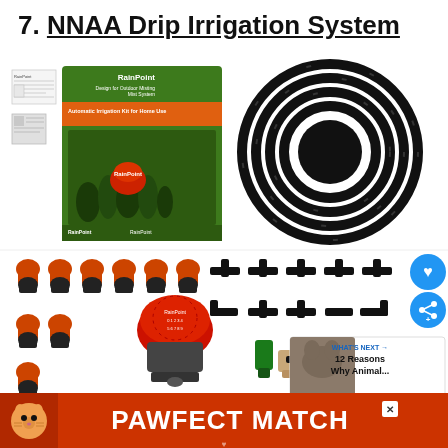7. NNAA Drip Irrigation System
[Figure (photo): Product photo of NNAA Drip Irrigation System including RainPoint box, black hose coil, orange drippers, black connectors, timer/controller, and small fittings]
[Figure (infographic): Advertisement banner: PAWFECT MATCH with cat image]